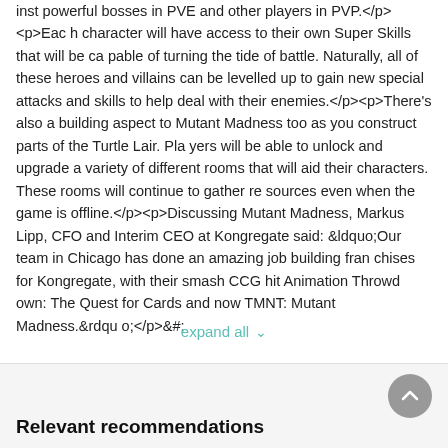inst powerful bosses in PVE and other players in PVP.</p><p>Each character will have access to their own Super Skills that will be capable of turning the tide of battle. Naturally, all of these heroes and villains can be levelled up to gain new special attacks and skills to help deal with their enemies.</p><p>There's also a building aspect to Mutant Madness too as you construct parts of the Turtle Lair. Players will be able to unlock and upgrade a variety of different rooms that will aid their characters. These rooms will continue to gather resources even when the game is offline.</p><p>Discussing Mutant Madness, Markus Lipp, CFO and Interim CEO at Kongregate said: &ldquo;Our team in Chicago has done an amazing job building franchises for Kongregate, with their smash CCG hit Animation Throwdown: The Quest for Cards and now TMNT: Mutant Madness.&rdquo;</p>&#;
expand all
Relevant recommendations